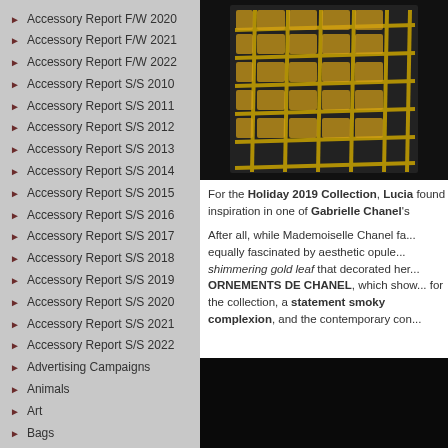Accessory Report F/W 2020
Accessory Report F/W 2021
Accessory Report F/W 2022
Accessory Report S/S 2010
Accessory Report S/S 2011
Accessory Report S/S 2012
Accessory Report S/S 2013
Accessory Report S/S 2014
Accessory Report S/S 2015
Accessory Report S/S 2016
Accessory Report S/S 2017
Accessory Report S/S 2018
Accessory Report S/S 2019
Accessory Report S/S 2020
Accessory Report S/S 2021
Accessory Report S/S 2022
Advertising Campaigns
Animals
Art
Bags
Beauty
Books
[Figure (photo): Close-up of a gold lattice/grid accessory on dark background - Chanel holiday collection piece]
For the Holiday 2019 Collection, Lucia found inspiration in one of Gabrielle Chanel's...
After all, while Mademoiselle Chanel fa... equally fascinated by aesthetic opule... shimmering gold leaf that decorated her... ORNEMENTS DE CHANEL, which show... for the collection, a statement smoky... complexion, and the contemporary con...
[Figure (photo): Dark/black photo - bottom portion of Chanel holiday collection image]